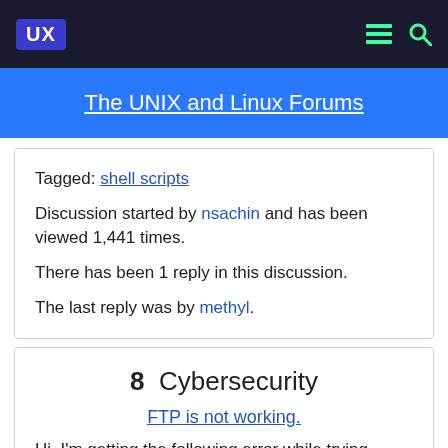UX | The UNIX and Linux Forums
Tagged: shell scripts
Discussion started by nsachin and has been viewed 1,441 times.
There has been 1 reply in this discussion.
The last reply was by methyl.
8  Cybersecurity
FTP is not working.
Hi, I'm getting the following error while trying